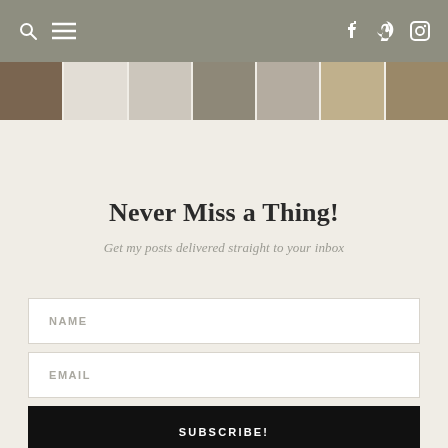Navigation bar with search, menu, Facebook, Pinterest, Instagram icons
[Figure (photo): A horizontal strip of 7 interior/lifestyle thumbnail photos]
Never Miss a Thing!
Get my posts delivered straight to your inbox
NAME field
EMAIL field
SUBSCRIBE!